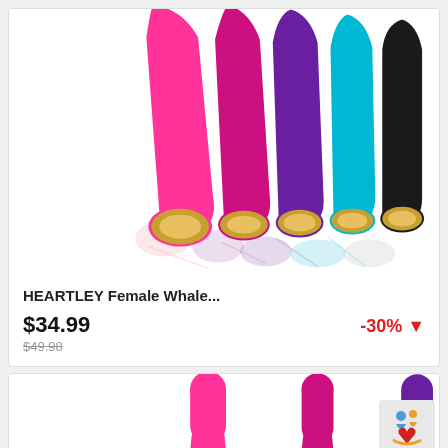[Figure (photo): Five silicone vibrators in pink, magenta, purple, cyan/blue, and black colors with gold metallic bases, fanned out and reflected on a white surface.]
HEARTLEY Female Whale...
$34.99
$49.98
-30% ↓
[Figure (photo): Partial view of product listing below, showing pink and purple vibrators, with a heart-shaped logo in the bottom right corner.]